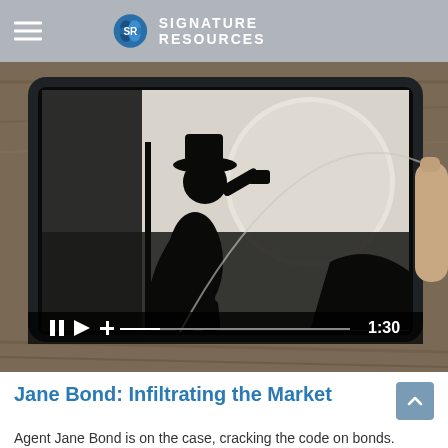SIGNATURE RESOURCES
[Figure (screenshot): Video player showing a tablet displaying a silhouette of a spy figure (Jane Bond) against a moonlit background. Video controls show pause, play, scrubber and timestamp 1:30.]
Jane Bond: Infiltrating the Market
Agent Jane Bond is on the case, cracking the code on bonds.